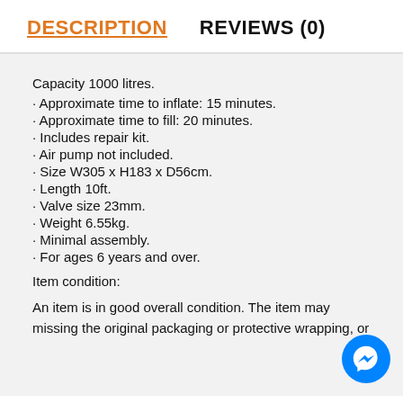DESCRIPTION
REVIEWS (0)
Capacity 1000 litres.
Approximate time to inflate: 15 minutes.
Approximate time to fill: 20 minutes.
Includes repair kit.
Air pump not included.
Size W305 x H183 x D56cm.
Length 10ft.
Valve size 23mm.
Weight 6.55kg.
Minimal assembly.
For ages 6 years and over.
Item condition:
An item is in good overall condition. The item may missing the original packaging or protective wrapping, or